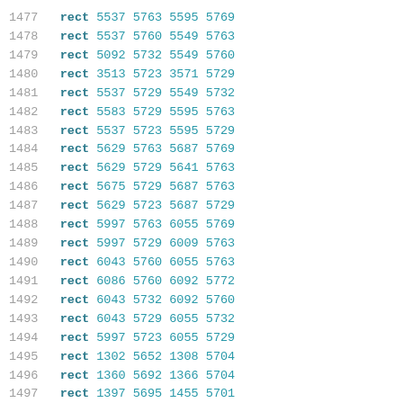| index | type | x1 | y1 | x2 | y2 |
| --- | --- | --- | --- | --- | --- |
| 1477 | rect | 5537 | 5763 | 5595 | 5769 |
| 1478 | rect | 5537 | 5760 | 5549 | 5763 |
| 1479 | rect | 5092 | 5732 | 5549 | 5760 |
| 1480 | rect | 3513 | 5723 | 3571 | 5729 |
| 1481 | rect | 5537 | 5729 | 5549 | 5732 |
| 1482 | rect | 5583 | 5729 | 5595 | 5763 |
| 1483 | rect | 5537 | 5723 | 5595 | 5729 |
| 1484 | rect | 5629 | 5763 | 5687 | 5769 |
| 1485 | rect | 5629 | 5729 | 5641 | 5763 |
| 1486 | rect | 5675 | 5729 | 5687 | 5763 |
| 1487 | rect | 5629 | 5723 | 5687 | 5729 |
| 1488 | rect | 5997 | 5763 | 6055 | 5769 |
| 1489 | rect | 5997 | 5729 | 6009 | 5763 |
| 1490 | rect | 6043 | 5760 | 6055 | 5763 |
| 1491 | rect | 6086 | 5760 | 6092 | 5772 |
| 1492 | rect | 6043 | 5732 | 6092 | 5760 |
| 1493 | rect | 6043 | 5729 | 6055 | 5732 |
| 1494 | rect | 5997 | 5723 | 6055 | 5729 |
| 1495 | rect | 1302 | 5652 | 1308 | 5704 |
| 1496 | rect | 1360 | 5692 | 1366 | 5704 |
| 1497 | rect | 1397 | 5695 | 1455 | 5701 |